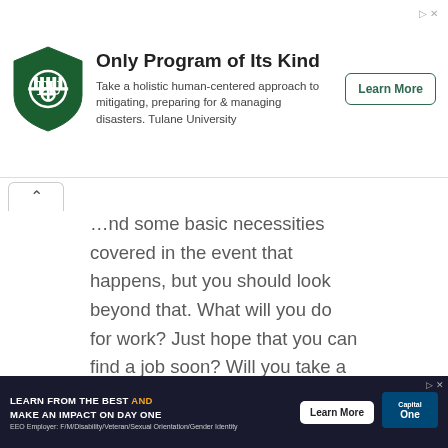[Figure (infographic): Top advertisement banner: Tulane University. Title: 'Only Program of Its Kind'. Body: 'Take a holistic human-centered approach to mitigating, preparing for & managing disasters. Tulane University'. Button: 'Learn More'. Green shield logo with TU monogram.]
…nd some basic necessities covered in the event that happens, but you should look beyond that. What will you do for work? Just hope that you can find a job soon? Will you take a lower paying or unrelated job just for the time being? You could do that, or you could take control and put your skills and experience to work.

What skills do you have that you could put to work? What is your experience? Find out what you have…
[Figure (infographic): Bottom advertisement banner (Capital One): 'LEARN FROM THE BEST AND MAKE AN IMPACT ON DAY ONE'. Button: 'Learn More'. EEO Employer notice. Capital One logo.]